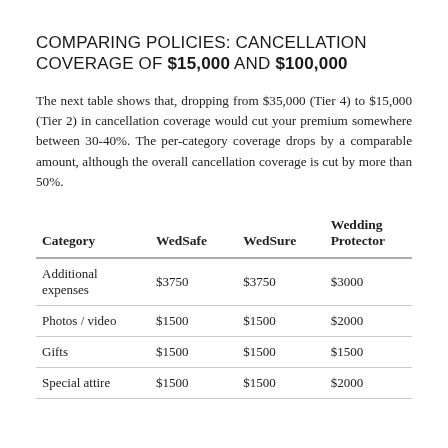COMPARING POLICIES: CANCELLATION COVERAGE OF $15,000 AND $100,000
The next table shows that, dropping from $35,000 (Tier 4) to $15,000 (Tier 2) in cancellation coverage would cut your premium somewhere between 30-40%. The per-category coverage drops by a comparable amount, although the overall cancellation coverage is cut by more than 50%.
| Category | WedSafe | WedSure | Wedding Protector |
| --- | --- | --- | --- |
| Additional expenses | $3750 | $3750 | $3000 |
| Photos / video | $1500 | $1500 | $2000 |
| Gifts | $1500 | $1500 | $1500 |
| Special attire | $1500 | $1500 | $2000 |